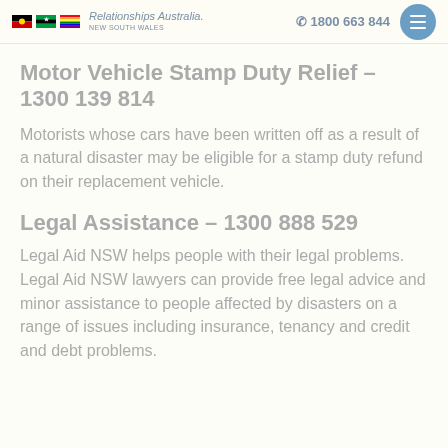Relationships Australia New South Wales | 1800 663 844
Motor Vehicle Stamp Duty Relief – 1300 139 814
Motorists whose cars have been written off as a result of a natural disaster may be eligible for a stamp duty refund on their replacement vehicle.
Legal Assistance – 1300 888 529
Legal Aid NSW helps people with their legal problems. Legal Aid NSW lawyers can provide free legal advice and minor assistance to people affected by disasters on a range of issues including insurance, tenancy and credit and debt problems.